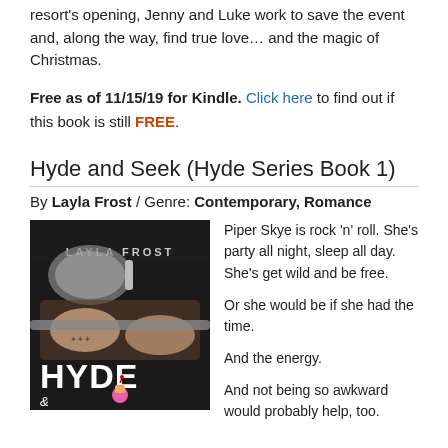resort's opening, Jenny and Luke work to save the event and, along the way, find true love… and the magic of Christmas.
Free as of 11/15/19 for Kindle. Click here to find out if this book is still FREE.
Hyde and Seek (Hyde Series Book 1)
By Layla Frost / Genre: Contemporary, Romance
[Figure (photo): Book cover of Hyde and Seek by Layla Frost, showing tattooed hands on motorcycle handlebars with silver mirror, title HYDE & and partial text at bottom, author name LAYLA FROST at top.]
Piper Skye is rock 'n' roll. She's party all night, sleep all day. She's get wild and be free.

Or she would be if she had the time.

And the energy.

And not being so awkward would probably help, too.